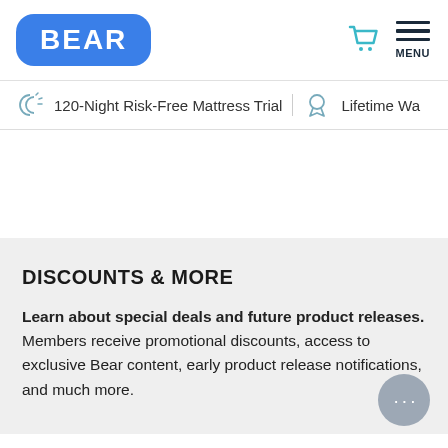[Figure (logo): BEAR logo — white bold text on rounded blue rectangle]
[Figure (other): Shopping cart icon and hamburger menu with MENU label]
120-Night Risk-Free Mattress Trial   Lifetime Wa…
DISCOUNTS & MORE
Learn about special deals and future product releases. Members receive promotional discounts, access to exclusive Bear content, early product release notifications, and much more.